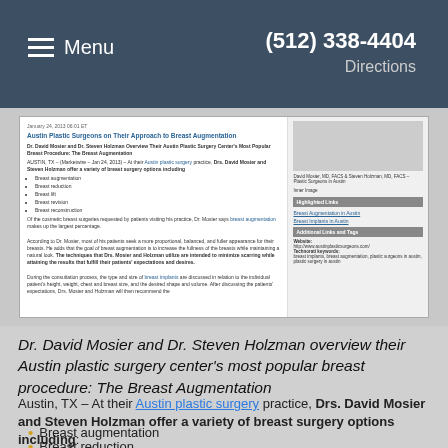Menu | (512) 338-4404 | Directions
[Figure (screenshot): Screenshot of a press release page: 'Austin Plastic Surgeons on Their Approach to Breast Augmentation' dated January 24, 2013, with article text and sidebar image of two doctors.]
Dr. David Mosier and Dr. Steven Holzman overview their Austin plastic surgery center's most popular breast procedure: The Breast Augmentation
Austin, TX – At their Austin plastic surgery practice, Drs. David Mosier and Steven Holzman offer a variety of breast surgery options including:
Breast augmentation
Breast reduction